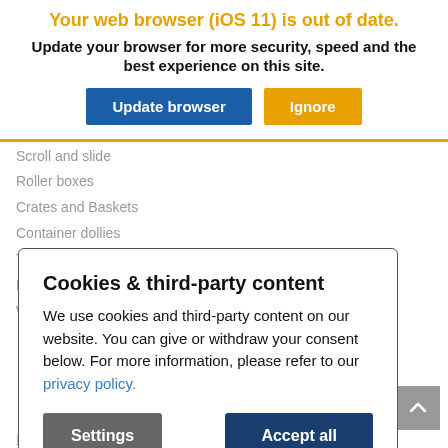Your web browser (iOS 11) is out of date.
Update your browser for more security, speed and the best experience on this site.
Roller boxes
Crates and Baskets
Container dollies
Transport cases
Data disposal containers
Waste and recyclables collecting stations
Cookies & third-party content
We use cookies and third-party content on our website. You can give or withdraw your consent below. For more information, please refer to our privacy policy.
Pharmaceutical and chemical industry